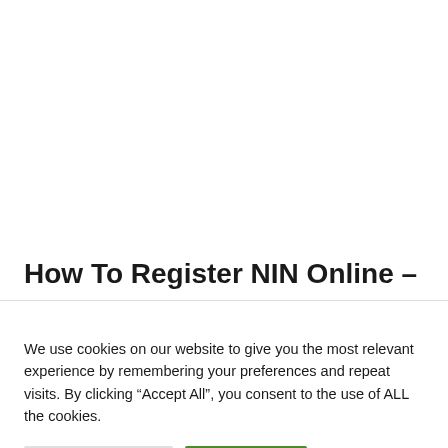How To Register NIN Online –
We use cookies on our website to give you the most relevant experience by remembering your preferences and repeat visits. By clicking “Accept All”, you consent to the use of ALL the cookies.
Cookie Settings | Accept All